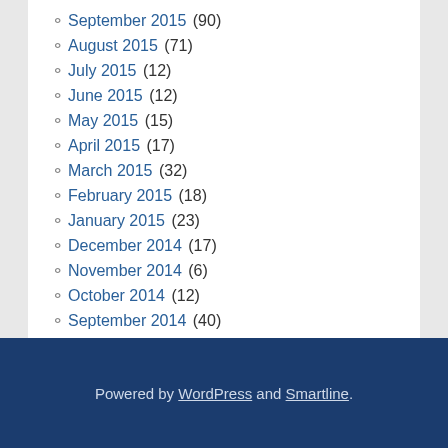September 2015 (90)
August 2015 (71)
July 2015 (12)
June 2015 (12)
May 2015 (15)
April 2015 (17)
March 2015 (32)
February 2015 (18)
January 2015 (23)
December 2014 (17)
November 2014 (6)
October 2014 (12)
September 2014 (40)
August 2014 (74)
July 2014 (13)
Powered by WordPress and Smartline.